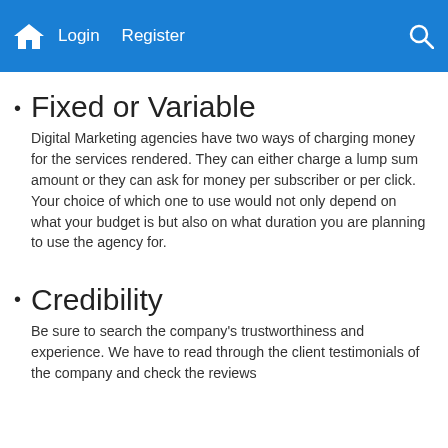Login  Register
Fixed or Variable
Digital Marketing agencies have two ways of charging money for the services rendered. They can either charge a lump sum amount or they can ask for money per subscriber or per click. Your choice of which one to use would not only depend on what your budget is but also on what duration you are planning to use the agency for.
Credibility
Be sure to search the company's trustworthiness and experience. We have to read through the client testimonials of the company and check the reviews